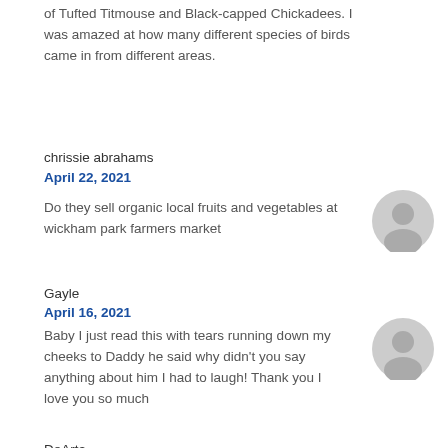of Tufted Titmouse and Black-capped Chickadees. I was amazed at how many different species of birds came in from different areas.
chrissie abrahams
April 22, 2021
Do they sell organic local fruits and vegetables at wickham park farmers market
Gayle
April 16, 2021
Baby I just read this with tears running down my cheeks to Daddy he said why didn't you say anything about him I had to laugh! Thank you I love you so much
DeArta
February 27, 2021
Love you Mommy!